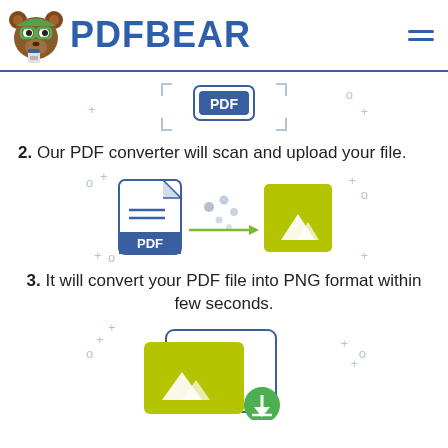[Figure (logo): PDFBear logo with bear mascot wearing green glasses and blue text PDFBEAR, plus hamburger menu icon]
[Figure (illustration): Upload area icon: PDF label in a rounded rectangle with blue bracket corners and decorative plus/circle marks]
2. Our PDF converter will scan and upload your file.
[Figure (illustration): PDF document icon with arrow pointing to yellow-green image/mountain icon, with dots indicating processing]
3. It will convert your PDF file into PNG format within few seconds.
[Figure (illustration): Two overlapping yellow-green image icons with a green download arrow button, with decorative plus/circle marks]